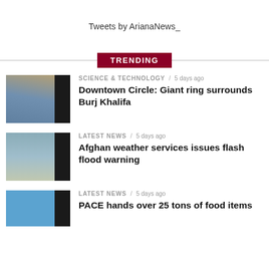Tweets by ArianaNews_
TRENDING
[Figure (photo): Cityscape with bridge and tall buildings at dusk, futuristic ring structure]
SCIENCE & TECHNOLOGY / 5 days ago
Downtown Circle: Giant ring surrounds Burj Khalifa
[Figure (photo): Flood waters rushing under a bridge]
LATEST NEWS / 5 days ago
Afghan weather services issues flash flood warning
[Figure (photo): Blue tent or tarp structure outdoors]
LATEST NEWS / 5 days ago
PACE hands over 25 tons of food items